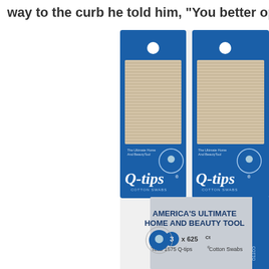way to the curb he told him, "You better open tha
[Figure (photo): Q-tips Cotton Swabs multi-pack product photo showing two blue Q-tips packages (each 625ct) with text 'America's Ultimate Home and Beauty Tool', '3 x 625Ct Total 1875 Q-tips Cotton Swabs']